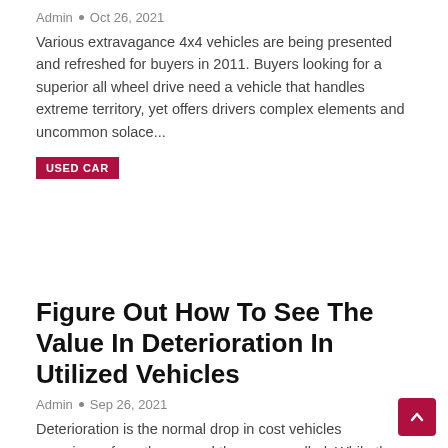Admin • Oct 26, 2021
Various extravagance 4x4 vehicles are being presented and refreshed for buyers in 2011. Buyers looking for a superior all wheel drive need a vehicle that handles extreme territory, yet offers drivers complex elements and uncommon solace...
USED CAR
Figure Out How To See The Value In Deterioration In Utilized Vehicles
Admin • Sep 26, 2021
Deterioration is the normal drop in cost vehicles experience from the second they are enrolled. While these vacillations cause cerebral pains for sellers who need to benefit from the